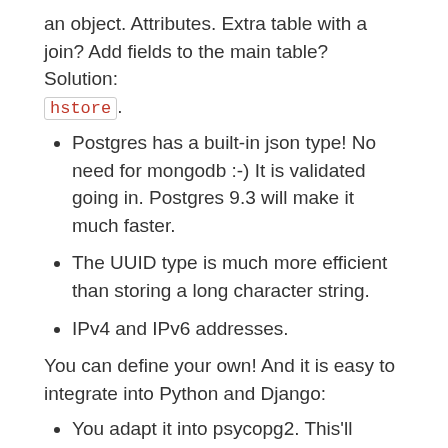an object. Attributes. Extra table with a join? Add fields to the main table? Solution: hstore.
Postgres has a built-in json type! No need for mongodb :-) It is validated going in. Postgres 9.3 will make it much faster.
The UUID type is much more efficient than storing a long character string.
IPv4 and IPv6 addresses.
You can define your own! And it is easy to integrate into Python and Django:
You adapt it into psycopg2. This'll mean quite some regex'ing, but there are many examples.
You write a field class for Django.